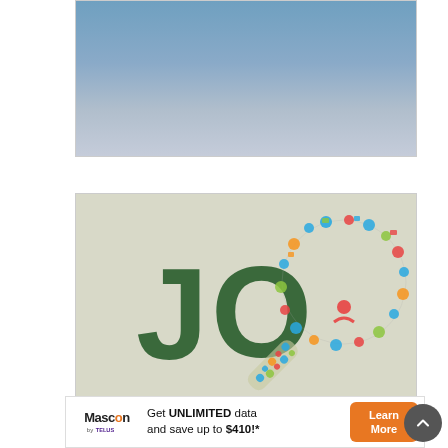[Figure (photo): Top image with blue-grey gradient sky background, bordered rectangle]
[Figure (illustration): Job search illustration: large green letters 'JO' with a magnifying glass made of colorful social media and technology icons on a beige/sage green background]
[Figure (infographic): Advertisement banner: Mascon by TELUS logo, text 'Get UNLIMITED data and save up to $410!*', orange Learn More button]